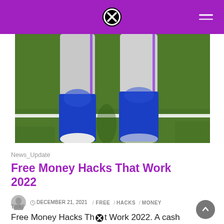Navigation bar with logo and menu
[Figure (photo): Close-up photo of a football player's legs and lower body in gray uniform pants and blue socks/knee pads on a green grass field with white yard line visible]
News_Update
Free Money Hacks That Work 2022
DECEMBER 21, 2021   FREE   HACKS   MONEY   THAT
Free Money Hacks That Work 2022. A cash